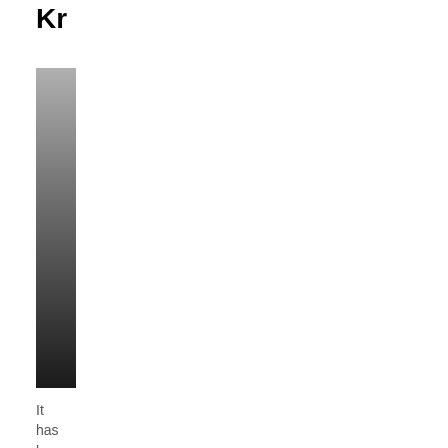Kr
[Figure (other): A vertical dark gradient bar, transitioning from light gray at the top to very dark gray/black at the bottom.]
It
has
bee
offi
um
yet
but
Ch
has
giv
us
enc
tea
abc
its